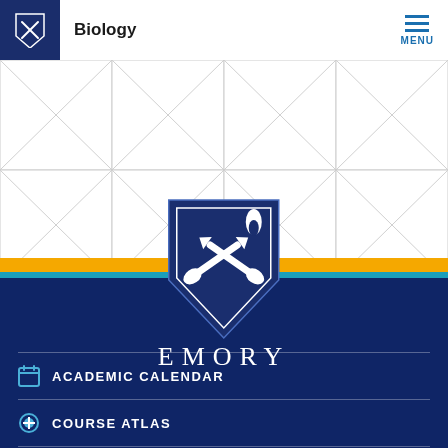Biology
[Figure (logo): Emory University shield logo and EMORY wordmark on navy background, with decorative tile grid above and gold/teal stripe divider]
ACADEMIC CALENDAR
COURSE ATLAS